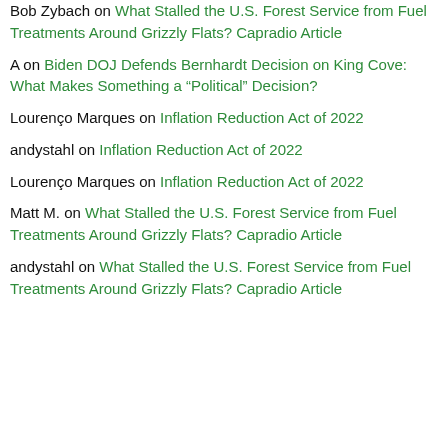Bob Zybach on What Stalled the U.S. Forest Service from Fuel Treatments Around Grizzly Flats? Capradio Article
A on Biden DOJ Defends Bernhardt Decision on King Cove: What Makes Something a “Political” Decision?
Lourenço Marques on Inflation Reduction Act of 2022
andystahl on Inflation Reduction Act of 2022
Lourenço Marques on Inflation Reduction Act of 2022
Matt M. on What Stalled the U.S. Forest Service from Fuel Treatments Around Grizzly Flats? Capradio Article
andystahl on What Stalled the U.S. Forest Service from Fuel Treatments Around Grizzly Flats? Capradio Article